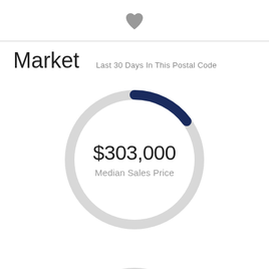[Figure (other): Gray heart icon at top center of page]
Market   Last 30 Days In This Postal Code
[Figure (donut-chart): Donut chart showing $303,000 Median Sales Price with dark navy arc segment on upper right]
[Figure (donut-chart): Partial donut chart visible at bottom of page, same style]